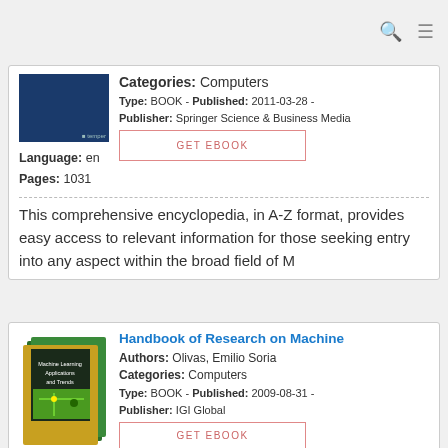Categories: Computers
Type: BOOK - Published: 2011-03-28 - Publisher: Springer Science & Business Media
Language: en
Pages: 1031
GET EBOOK
This comprehensive encyclopedia, in A-Z format, provides easy access to relevant information for those seeking entry into any aspect within the broad field of M
[Figure (illustration): Book cover with dark blue background]
Handbook of Research on Machine
Authors: Olivas, Emilio Soria
Categories: Computers
Type: BOOK - Published: 2009-08-31 - Publisher: IGI Global
Language: en
Pages: 852
GET EBOOK